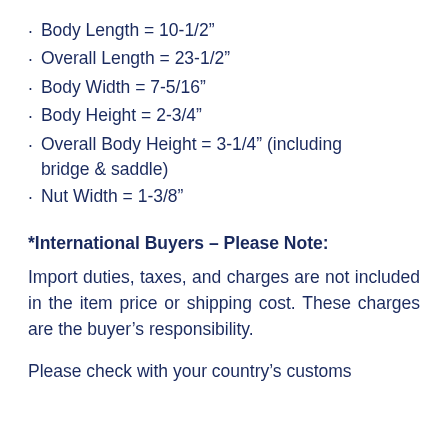Body Length = 10-1/2”
Overall Length = 23-1/2”
Body Width = 7-5/16”
Body Height = 2-3/4”
Overall Body Height = 3-1/4” (including bridge & saddle)
Nut Width = 1-3/8”
*International Buyers – Please Note:
Import duties, taxes, and charges are not included in the item price or shipping cost. These charges are the buyer’s responsibility.
Please check with your country’s customs